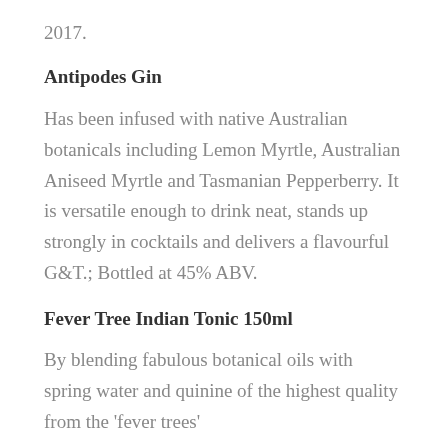2017.
Antipodes Gin
Has been infused with native Australian botanicals including Lemon Myrtle, Australian Aniseed Myrtle and Tasmanian Pepperberry. It is versatile enough to drink neat, stands up strongly in cocktails and delivers a flavourful G&T.; Bottled at 45% ABV.
Fever Tree Indian Tonic 150ml
By blending fabulous botanical oils with spring water and quinine of the highest quality from the 'fever trees'